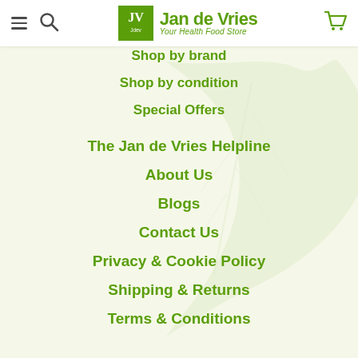Jan de Vries — Your Health Food Store
Shop by brand
Shop by condition
Special Offers
The Jan de Vries Helpline
About Us
Blogs
Contact Us
Privacy & Cookie Policy
Shipping & Returns
Terms & Conditions